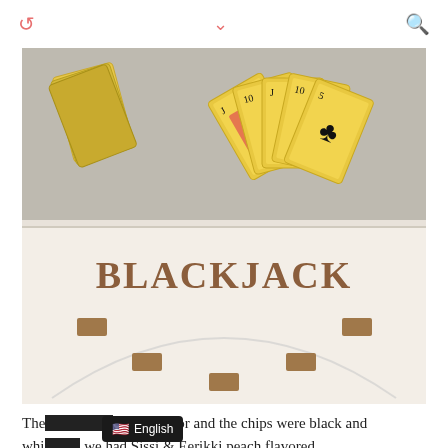[Figure (photo): Top half: gold playing cards fanned out on a grey carpet surface. A stack of cards showing a 5 of hearts is on the left, and a fan of gold cards with clubs, spades, and a joker is on the right. Bottom half: a white blackjack table felt with the word BLACKJACK printed in large brown serif letters, with brown rectangular chips placed around a semicircular arc.]
The cards were gold in color and the chips were black and white... we had Sissi & Eerikki peach flavored